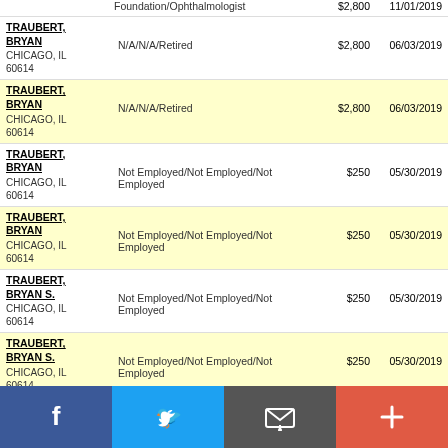| Name/Location | Employer/Occupation | Amount | Date |
| --- | --- | --- | --- |
| TRAUBERT, BRYAN
CHICAGO, IL 60614 | Foundation/Ophthalmologist | $2,800 | 11/01/2019 |
| TRAUBERT, BRYAN
CHICAGO, IL 60614 | N/A/N/A/Retired | $2,800 | 06/03/2019 |
| TRAUBERT, BRYAN
CHICAGO, IL 60614 | N/A/N/A/Retired | $2,800 | 06/03/2019 |
| TRAUBERT, BRYAN
CHICAGO, IL 60614 | Not Employed/Not Employed/Not Employed | $250 | 05/30/2019 |
| TRAUBERT, BRYAN
CHICAGO, IL 60614 | Not Employed/Not Employed/Not Employed | $250 | 05/30/2019 |
| TRAUBERT, BRYAN S.
CHICAGO, IL 60614 | Not Employed/Not Employed/Not Employed | $250 | 05/30/2019 |
| TRAUBERT, BRYAN S.
CHICAGO, IL 60614 | Not Employed/Not Employed/Not Employed | $250 | 05/30/2019 |